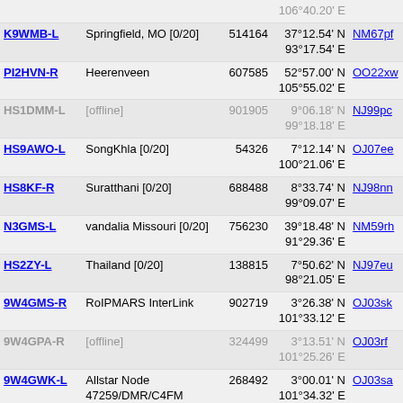| Callsign | Location | Node | Coordinates | Grid |
| --- | --- | --- | --- | --- |
|  |  |  | 106°40.20' E |  |
| K9WMB-L | Springfield, MO [0/20] | 514164 | 37°12.54' N 93°17.54' E | NM67pf |
| PI2HVN-R | Heerenveen | 607585 | 52°57.00' N 105°55.02' E | OO22xw |
| HS1DMM-L [offline] | [offline] | 901905 | 9°06.18' N 99°18.18' E | NJ99pc |
| HS9AWO-L | SongKhla [0/20] | 54326 | 7°12.14' N 100°21.06' E | OJ07ee |
| HS8KF-R | Suratthani [0/20] | 688488 | 8°33.74' N 99°09.07' E | NJ98nn |
| N3GMS-L | vandalia Missouri [0/20] | 756230 | 39°18.48' N 91°29.36' E | NM59rh |
| HS2ZY-L | Thailand [0/20] | 138815 | 7°50.62' N 98°21.05' E | NJ97eu |
| 9W4GMS-R | RoIPMARS InterLink | 902719 | 3°26.38' N 101°33.12' E | OJ03sk |
| 9W4GPA-R [offline] | [offline] | 324499 | 3°13.51' N 101°25.26' E | OJ03rf |
| 9W4GWK-L | Allstar Node 47259/DMR/C4FM | 268492 | 3°00.01' N 101°34.32' E | OJ03sa |
| 9W4GRV-L | RAKANS V19,145.237MH (1) | 987712 | 3°06.00' N 101°22.44' E | OJ03qc |
| 9W4GRV-R | ... (1) | 294774 | 3°06.00' N 101°22.44' E | OJ03qc |
| K4VL-R | Woodlawn, TN [0/20] | 972121 | 36°31.88' N 87°30.04' E | NM36sm |